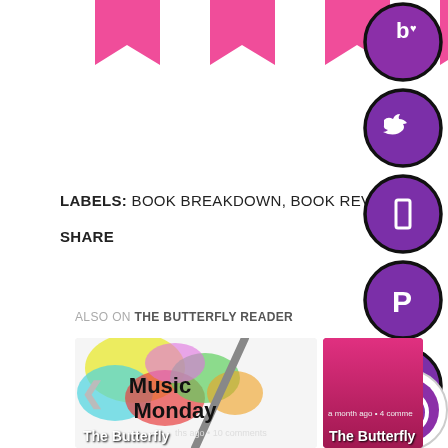[Figure (illustration): Five pink bookmark/ribbon banner shapes in a row at the top of the page]
LABELS: BOOK BREAKDOWN, BOOK REVIEW
SHARE
[Figure (illustration): Social media icon buttons stacked vertically on the right: Bloglovin (b with heart), Twitter bird, rectangle/Flipboard, Pinterest P, Instagram camera, and a circular power/play button at bottom]
ALSO ON THE BUTTERFLY READER
[Figure (illustration): Card thumbnail: colorful paint splash with 'Music Monday' text overlay, navigation arrow, text 'The Butterfly' at bottom]
[Figure (illustration): Card thumbnail: magenta/pink background, text 'a month ago • 4 comments', 'The Butterfly' at bottom]